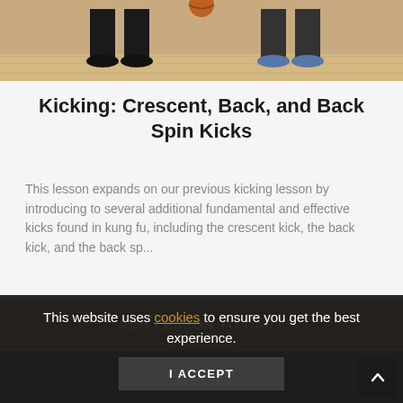[Figure (photo): Two people standing on a wooden floor, legs visible, one wearing black pants and shoes, one wearing blue shoes — martial arts setting]
Kicking: Crescent, Back, and Back Spin Kicks
This lesson expands on our previous kicking lesson by introducing to several additional fundamental and effective kicks found in kung fu, including the crescent kick, the back kick, and the back sp...
ADD LESSON TO CART
LEARN MORE
This website uses cookies to ensure you get the best experience.
I ACCEPT